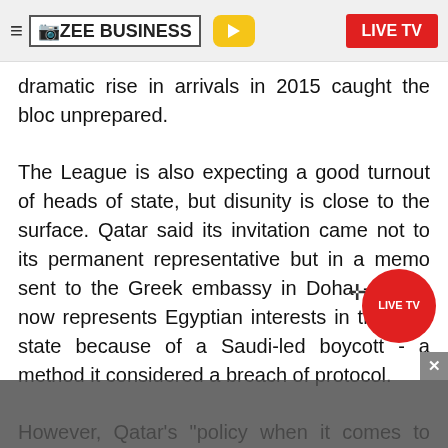ZEE BUSINESS | LIVE TV
dramatic rise in arrivals in 2015 caught the bloc unprepared.
The League is also expecting a good turnout of heads of state, but disunity is close to the surface. Qatar said its invitation came not to its permanent representative but in a memo sent to the Greek embassy in Doha - which now represents Egyptian interests in the Gulf state because of a Saudi-led boycott - a method it considered a breach of protocol.
However, Qatar's "policy when it comes to such unprofessional behaviour has always been and will always be taking the higher road", a foreign ministry official said. "Therefore..."